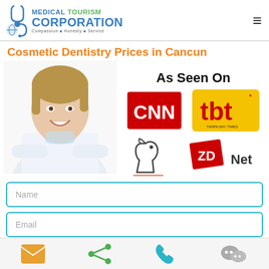[Figure (logo): Medical Tourism Corporation logo with stethoscope/globe icon, blue and green text, tagline: Compassion • Honesty • Service]
Cosmetic Dentistry Prices in Cancun
[Figure (photo): Male doctor in white coat smiling, with mask around neck]
[Figure (infographic): As Seen On section showing CNN, tbt (Tampa Bay Times), a horse chess piece logo, and ZDNet logos]
Name
Email
[Figure (infographic): Bottom navigation bar with email icon (orange), share icon (green), phone icon (blue), and WeChat icon (gray)]